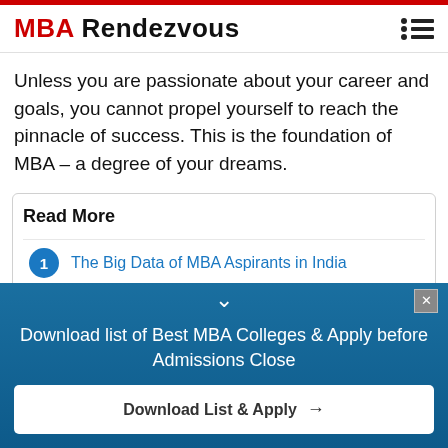MBA Rendezvous
Unless you are passionate about your career and goals, you cannot propel yourself to reach the pinnacle of success. This is the foundation of MBA – a degree of your dreams.
Read More
1  The Big Data of MBA Aspirants in India
Download list of Best MBA Colleges & Apply before Admissions Close
Download List & Apply →